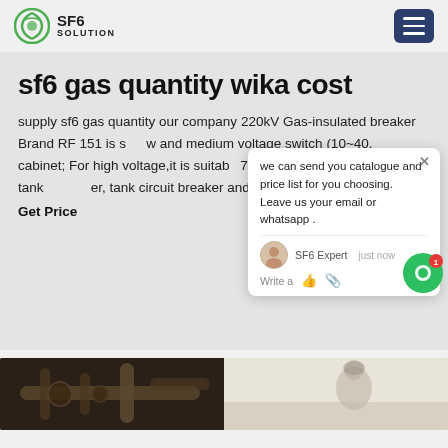SF6 SOLUTION
sf6 gas quantity wika cost
supply sf6 gas quantity our company 220kV Gas-insulated breaker Brand RF 151 is s...w and medium voltage switch (10~40.... cabinet; For high voltage,it is suitab... 72.5kv,110kv,220 kv,330kv live tank ...er, tank circuit breaker and SF6 ga...
Get Price
[Figure (screenshot): Chat popup overlay with message: we can send you catalogue and price list for you choosing. Leave us your email or whatsapp. SF6 Expert just now. Write a...]
[Figure (photo): Bottom strip showing industrial equipment on the left and a person on the right]